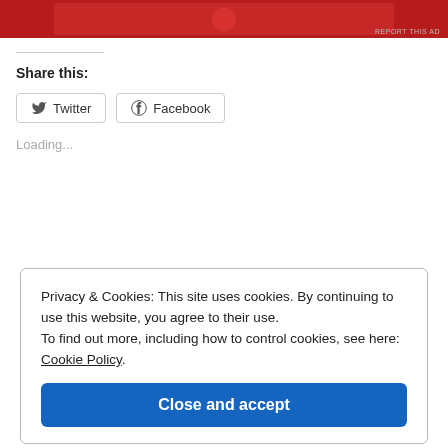[Figure (other): Red advertisement banner at the top of the page]
REPORT THIS AD
Share this:
Twitter
Facebook
Loading...
Privacy & Cookies: This site uses cookies. By continuing to use this website, you agree to their use. To find out more, including how to control cookies, see here: Cookie Policy
Close and accept